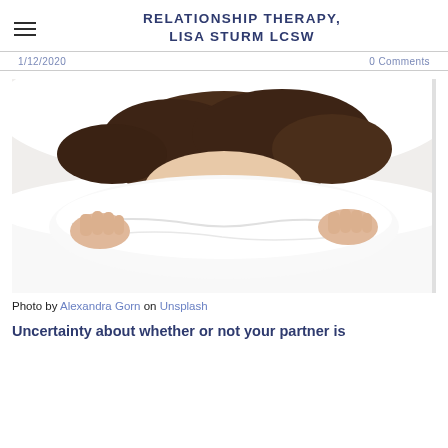RELATIONSHIP THERAPY, LISA STURM LCSW
1/12/2020   0 Comments
[Figure (photo): Woman lying in bed pulling white blanket up to cover her face, only eyes and above visible, looking anxious or worried]
Photo by Alexandra Gorn on Unsplash
Uncertainty about whether or not your partner is